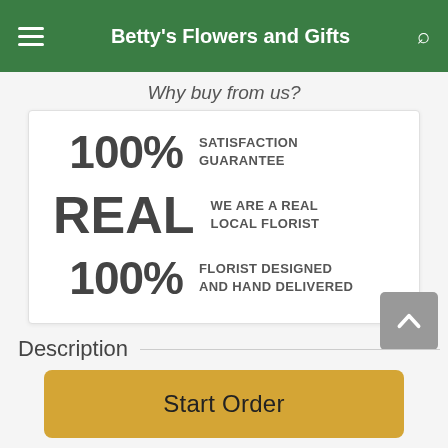Betty's Flowers and Gifts
Why buy from us?
100% SATISFACTION GUARANTEE
REAL WE ARE A REAL LOCAL FLORIST
100% FLORIST DESIGNED AND HAND DELIVERED
Description
Start Order